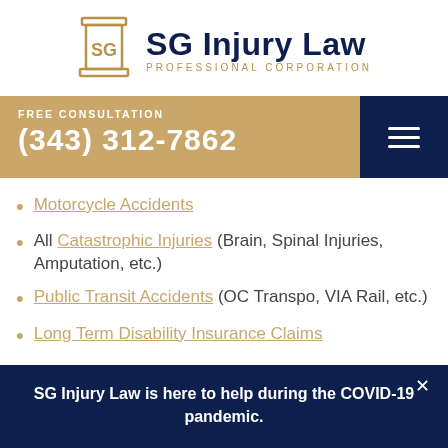[Figure (logo): SG Injury Law Professional Corporation logo with gold column icon and dark navy text]
FREE CONSULTATION
(343) 312-7862
Motorcycle Accidents
All Catastrophic Injuries (Brain, Spinal Injuries, Amputation, etc.)
Public Transit Accidents (OC Transpo, VIA Rail, etc.)
Long Term Disability Insurance Claims
SG Injury Law is here to help during the COVID-19 pandemic.